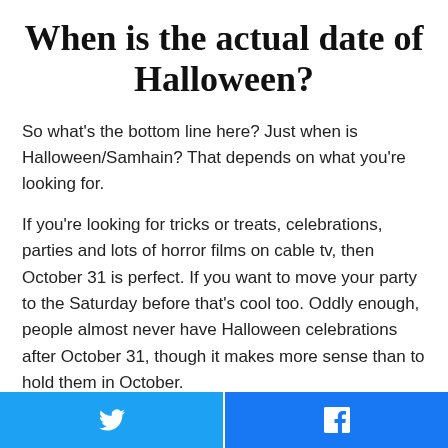When is the actual date of Halloween?
So what's the bottom line here? Just when is Halloween/Samhain? That depends on what you're looking for.
If you're looking for tricks or treats, celebrations, parties and lots of horror films on cable tv, then October 31 is perfect. If you want to move your party to the Saturday before that's cool too. Oddly enough, people almost never have Halloween celebrations after October 31, though it makes more sense than to hold them in October.
[Figure (other): Social sharing buttons: Twitter (blue) and Facebook (blue) side by side at the bottom of the page]